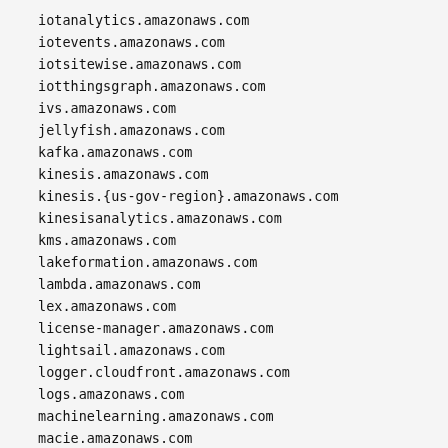iotanalytics.amazonaws.com
iotevents.amazonaws.com
iotsitewise.amazonaws.com
iotthingsgraph.amazonaws.com
ivs.amazonaws.com
jellyfish.amazonaws.com
kafka.amazonaws.com
kinesis.amazonaws.com
kinesis.{us-gov-region}.amazonaws.com
kinesisanalytics.amazonaws.com
kms.amazonaws.com
lakeformation.amazonaws.com
lambda.amazonaws.com
lex.amazonaws.com
license-manager.amazonaws.com
lightsail.amazonaws.com
logger.cloudfront.amazonaws.com
logs.amazonaws.com
machinelearning.amazonaws.com
macie.amazonaws.com
managedblockchain.amazonaws.com
managedservices.amazonaws.com
mediaconnect.amazonaws.com
mediaconvert.amazonaws.com
mediapackage.amazonaws.com
mediastore.amazonaws.com